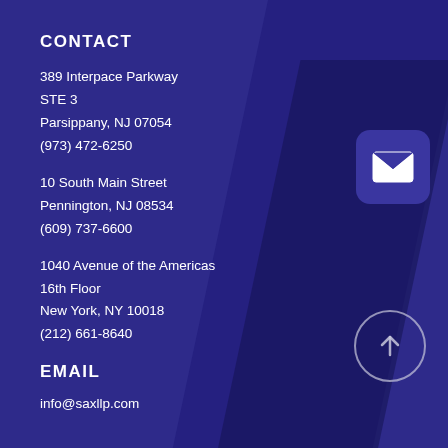CONTACT
389 Interpace Parkway
STE 3
Parsippany, NJ 07054
(973) 472-6250
10 South Main Street
Pennington, NJ 08534
(609) 737-6600
1040 Avenue of the Americas
16th Floor
New York, NY 10018
(212) 661-8640
EMAIL
info@saxllp.com
[Figure (illustration): Email/envelope icon in a rounded square button, purple background]
[Figure (illustration): Circular arrow-up button with white circle border]